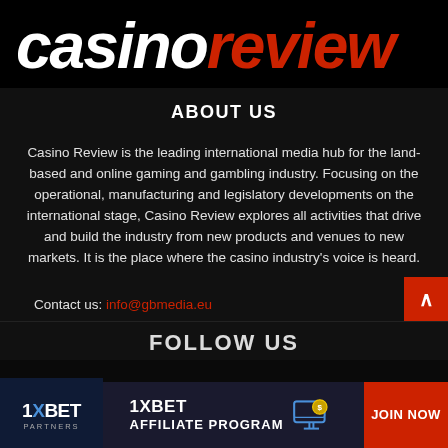[Figure (logo): Casino Review logo — 'casino' in white bold italic, 'review' in red bold italic on black background]
ABOUT US
Casino Review is the leading international media hub for the land-based and online gaming and gambling industry. Focusing on the operational, manufacturing and legislatory developments on the international stage, Casino Review explores all activities that drive and build the industry from new products and venues to new markets. It is the place where the casino industry's voice is heard.
Contact us: info@gbmedia.eu
FOLLOW US
[Figure (infographic): 1XBET Partners affiliate program advertisement banner — left: 1XBET Partners logo; center: '1XBET AFFILIATE PROGRAM' with monitor/coins icon; right: red 'JOIN NOW' button]